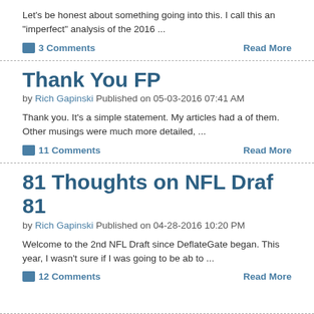Let's be honest about something going into this. I call this an "imperfect" analysis of the 2016 ...
3 Comments
Read More
Thank You FP
by Rich Gapinski Published on 05-03-2016 07:41 AM
Thank you. It's a simple statement. My articles had a of them. Other musings were much more detailed, ...
11 Comments
Read More
81 Thoughts on NFL Draf 81
by Rich Gapinski Published on 04-28-2016 10:20 PM
Welcome to the 2nd NFL Draft since DeflateGate began. This year, I wasn't sure if I was going to be ab to ...
12 Comments
Read More